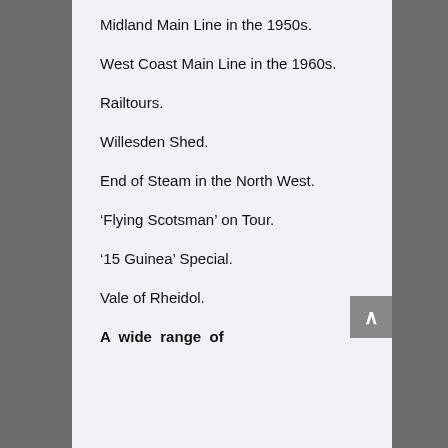Midland Main Line in the 1950s.
West Coast Main Line in the 1960s.
Railtours.
Willesden Shed.
End of Steam in the North West.
‘Flying Scotsman’ on Tour.
‘15 Guinea’ Special.
Vale of Rheidol.
A wide range of